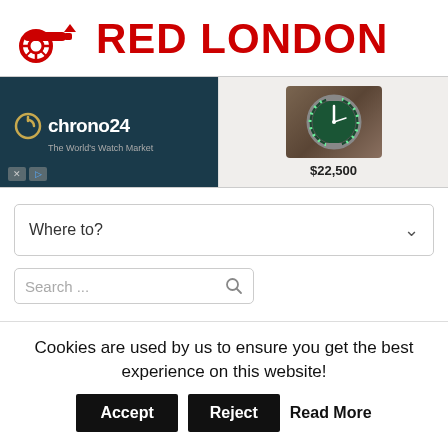RED LONDON
[Figure (screenshot): Chrono24 advertisement banner showing a green-bezel luxury watch priced at $22,500 on dark teal background]
Where to?
Search ...
Match Reaction: Arsenal 6-2
Cookies are used by us to ensure you get the best experience on this website!
Accept   Reject   Read More